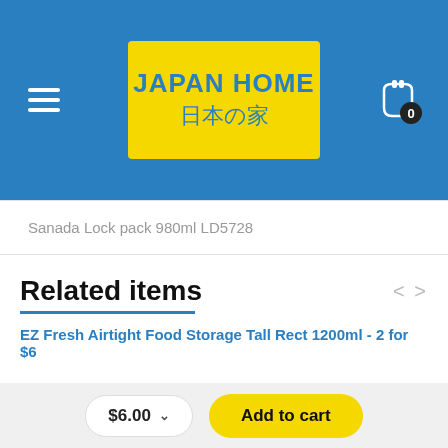[Figure (logo): Japan Home logo — yellow rectangle with 'JAPAN HOME' in blue and Japanese text '日本の家' below]
Sanada Lock pack 980ml LD5728
Related items
EZ Fresh Airtight Food Storage Tall Rect 1200ml - 2 for $6
[Figure (photo): Photo of a rectangular airtight food storage container with pink/mauve lid, seen from above at an angle]
$6.00   Add to cart